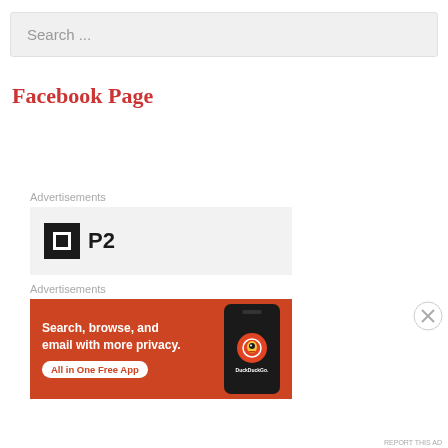Search ...
Facebook Page
Advertisements
[Figure (logo): P2 logo: black square with white inner square border, followed by bold text 'P2']
Advertisements
[Figure (infographic): DuckDuckGo advertisement on orange background: 'Search, browse, and email with more privacy. All in One Free App' with a phone showing the DuckDuckGo logo and 'DuckDuckGo.' text]